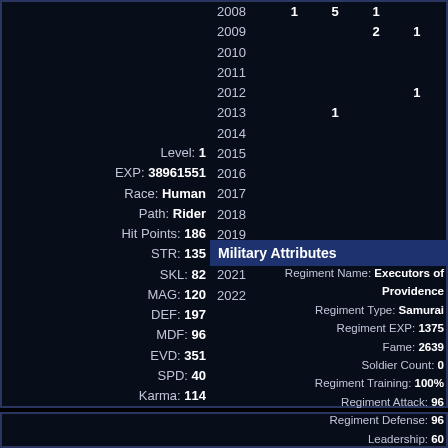Level: 1
EXP: 38961551
Race: Human
Path: Rider
Hit Points: 186
STR: 135
SKL: 82
MAG: 120
DEF: 197
MDF: 96
EVD: 351
SPD: 40
Karma: 114
| Year | Col1 | Col2 | Col3 | Col4 |
| --- | --- | --- | --- | --- |
| 2008 | 1 | 5 | 1 |  |
| 2009 |  |  | 2 | 1 |
| 2010 |  |  |  |  |
| 2011 |  |  |  |  |
| 2012 |  |  |  | 1 |
| 2013 |  | 1 |  |  |
| 2014 |  |  |  |  |
| 2015 |  |  |  |  |
| 2016 |  |  |  |  |
| 2017 |  |  |  |  |
| 2018 |  |  |  |  |
| 2019 |  |  |  |  |
| 2020 |  |  |  |  |
| 2021 |  |  |  |  |
| 2022 |  |  |  |  |
Military Attributes
Regiment Name: Executors of Providence
Regiment Type: Samurai
Regiment EXP: 1375
Fame: 2639
Soldier Count: 0
Regiment Training: 100%
Regiment Attack: 96
Regiment Defense: 96
Leadership: 60